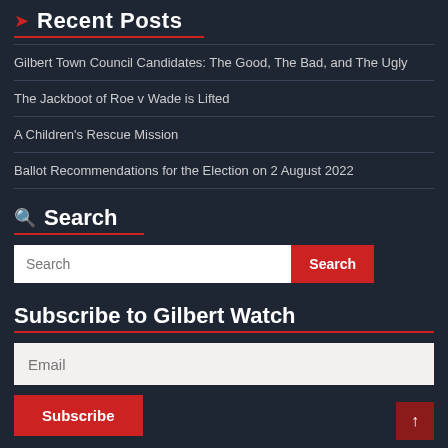Recent Posts
Gilbert Town Council Candidates: The Good, The Bad, and The Ugly
The Jackboot of Roe v Wade is Lifted
A Children's Rescue Mission
Ballot Recommendations for the Election on 2 August 2022
Search
Subscribe to Gilbert Watch